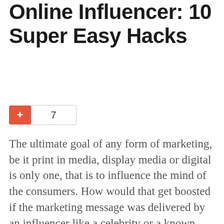How to Become an Online Influencer: 10 Super Easy Hacks
[Figure (other): Social share button with red plus icon and count box showing number 7]
The ultimate goal of any form of marketing, be it print in media, display media or digital is only one, that is to influence the mind of the consumers. How would that get boosted if the marketing message was delivered by an influencer like a celebrity or a known expert in the field? Won't it get accepted much more easily and many more times? This is the power of